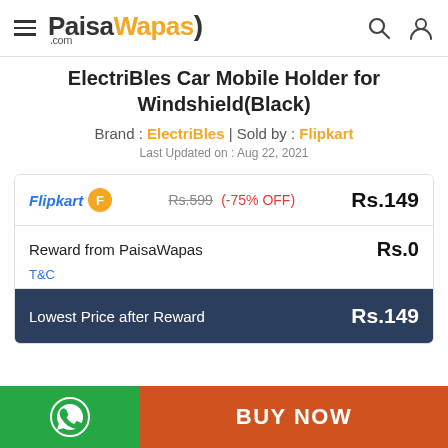PaisaWapas.com
ElectriBles Car Mobile Holder for Windshield(Black)
Brand : ElectriBles | Sold by : Flipkart
Last Updated on : Aug 22, 2021
| Store | Price Info | Final Price |
| --- | --- | --- |
| Flipkart | Rs.599 (-75% OFF) | Rs.149 |
| Reward from PaisaWapas |  | Rs.0 |
| Lowest Price after Reward |  | Rs.149 |